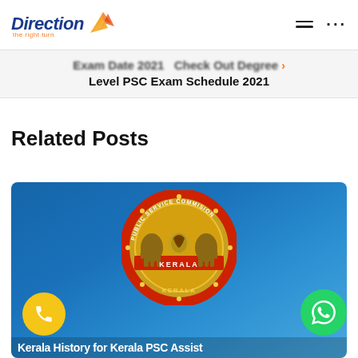[Figure (logo): Direction logo with orange arrow/flame graphic and tagline 'the right turn']
Exam Date 2021  Check Out Degree Level PSC Exam Schedule 2021
Related Posts
[Figure (photo): Kerala Public Service Commission emblem/seal on a blue background card, with phone call button (yellow circle) and WhatsApp button (green circle) overlaid. Partially visible text at bottom reads 'Kerala History for Kerala PSC Assistant'.]